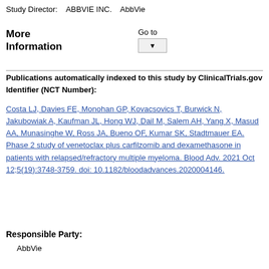Study Director:    ABBVIE INC.    AbbVie
More
Information
Go to
Publications automatically indexed to this study by ClinicalTrials.gov Identifier (NCT Number):
Costa LJ, Davies FE, Monohan GP, Kovacsovics T, Burwick N, Jakubowiak A, Kaufman JL, Hong WJ, Dail M, Salem AH, Yang X, Masud AA, Munasinghe W, Ross JA, Bueno OF, Kumar SK, Stadtmauer EA. Phase 2 study of venetoclax plus carfilzomib and dexamethasone in patients with relapsed/refractory multiple myeloma. Blood Adv. 2021 Oct 12;5(19):3748-3759. doi: 10.1182/bloodadvances.2020004146.
Responsible Party:
AbbVie